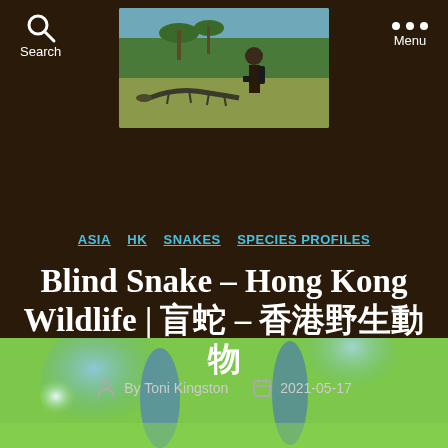Search  Menu
[Figure (photo): Header banner photo showing a woman with camera and backpack standing in a savanna or grassland with trees in the background and a large animal (monitor lizard or similar) in the foreground]
ASIA  HK  SNAKES  SPECIES PROFILES
Blind Snake – Hong Kong Wildlife | 盲蛇 – 香港野生動物
By Toni Kingston  2021-05-17
[Figure (photo): Close-up blurred photo of what appears to be a blind snake against a green and blue bokeh background]